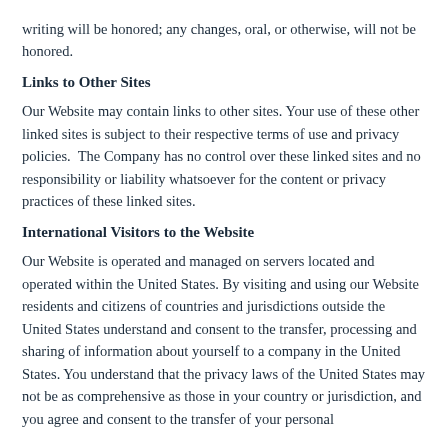writing will be honored; any changes, oral, or otherwise, will not be honored.
Links to Other Sites
Our Website may contain links to other sites. Your use of these other linked sites is subject to their respective terms of use and privacy policies.  The Company has no control over these linked sites and no responsibility or liability whatsoever for the content or privacy practices of these linked sites.
International Visitors to the Website
Our Website is operated and managed on servers located and operated within the United States. By visiting and using our Website residents and citizens of countries and jurisdictions outside the United States understand and consent to the transfer, processing and sharing of information about yourself to a company in the United States. You understand that the privacy laws of the United States may not be as comprehensive as those in your country or jurisdiction, and you agree and consent to the transfer of your personal